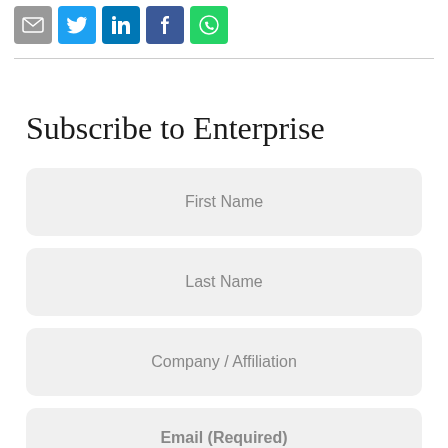[Figure (other): Social share icons: email (grey), Twitter (blue bird), LinkedIn (blue), Facebook (dark blue), WhatsApp (green)]
Subscribe to Enterprise
First Name
Last Name
Company / Affiliation
Email (Required)